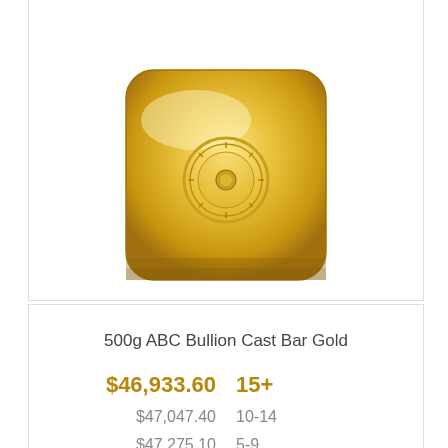[Figure (photo): Top portion of a gold bullion cast bar, showing rounded square shape with engraved circular logo/stamp on top surface, shiny gold color]
500g ABC Bullion Cast Bar Gold
| Price | Quantity |
| --- | --- |
| $46,933.60 | 15+ |
| $47,047.40 | 10-14 |
| $47,275.10 | 5-9 |
| $47,389.00 | 1-4 |
[Figure (photo): Partial view of another gold bullion cast bar product card at bottom, with Chinese and UK flags visible in corner, and a scroll-up chevron button on far right]